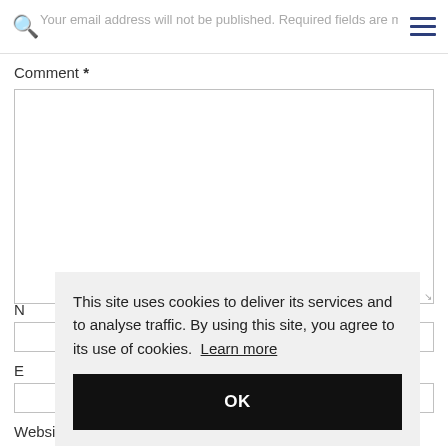Your email address will not be published. Required fields are marked
Comment *
N
E
Website
This site uses cookies to deliver its services and to analyse traffic. By using this site, you agree to its use of cookies. Learn more
OK